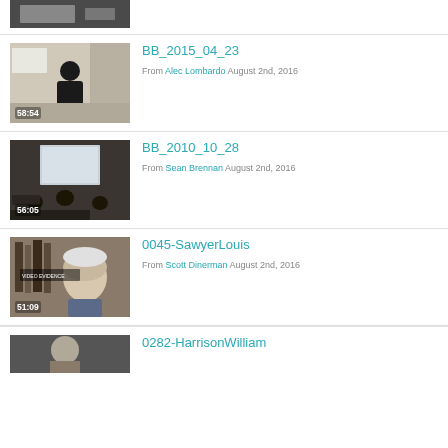[Figure (screenshot): Partial video thumbnail at top of page, cropped]
BB_2015_04_23
From Alec Lombardo August 2nd, 2016
[Figure (screenshot): Video thumbnail showing lecture hall, 56:05 duration]
BB_2010_10_28
From Sean Brennan August 2nd, 2016
[Figure (screenshot): Video thumbnail showing older man, 51:09 duration]
0045-SawyerLouis
From Scott Dinerman August 2nd, 2016
[Figure (screenshot): Partial video thumbnail at bottom, cropped]
0282-HarrisonWilliam